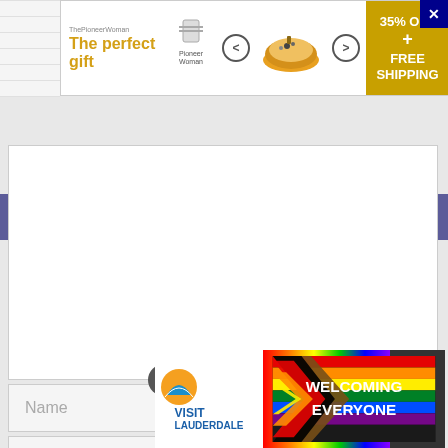[Figure (screenshot): Advertisement banner: 'The perfect gift' with food image, 35% OFF + FREE SHIPPING promo]
[Figure (screenshot): Close button (X) in dark blue, top right corner]
Leave a Comment
[Figure (screenshot): Empty comment textarea with resize handle]
[Figure (screenshot): Name input field placeholder]
[Figure (screenshot): Email input field placeholder, partially obscured by Visit Lauderdale ad]
[Figure (screenshot): Visit Lauderdale - WELCOMING EVERYONE advertisement banner with rainbow pride flag design and close button]